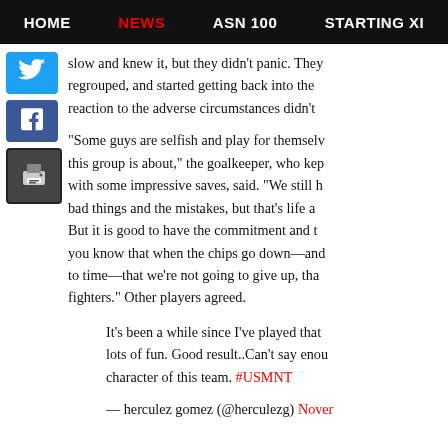HOME  NEWS  ASN 100  STARTING XI
slow and knew it, but they didn't panic. They regrouped, and started getting back into the reaction to the adverse circumstances didn't
"Some guys are selfish and play for themselves this group is about," the goalkeeper, who kept with some impressive saves, said. "We still have bad things and the mistakes, but that's life and But it is good to have the commitment and t you know that when the chips go down—and to time—that we're not going to give up, that fighters." Other players agreed.
It's been a while since I've played that lots of fun. Good result..Can't say enough character of this team. #USMNT
— herculez gomez (@herculezg) November